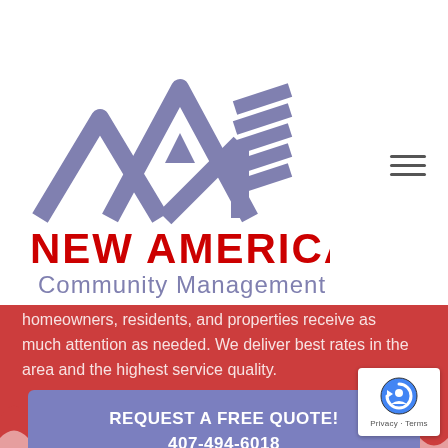[Figure (logo): New American Community Management logo with blue/purple house roofline graphic above text 'NEW AMERICAN' in red bold and 'Community Management' in blue/gray]
homeowners, residents, and properties receive as much attention as needed. We deliver best rates in the area and the highest service quality.
REQUEST A FREE QUOTE!
407-494-6018
[Figure (other): reCAPTCHA badge with Google reCAPTCHA logo and 'Privacy - Terms' text]